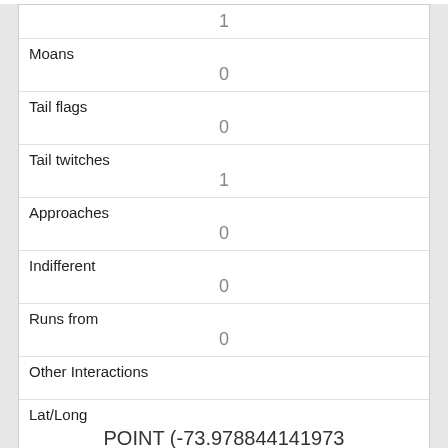| 1 |
| Moans | 0 |
| Tail flags | 0 |
| Tail twitches | 1 |
| Approaches | 0 |
| Indifferent | 0 |
| Runs from | 0 |
| Other Interactions |  |
| Lat/Long | POINT (-73.978844141973 40.7696046074378) |
| Link | 1891 |